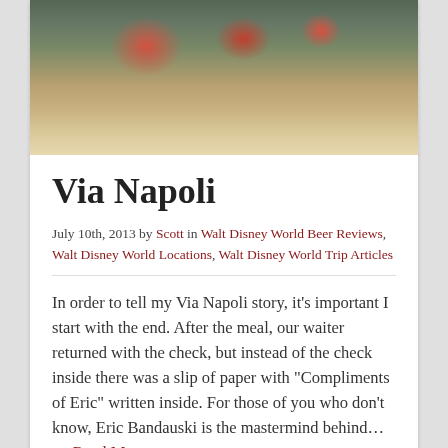[Figure (photo): Photo of Via Napoli restaurant exterior with flower pots and stone facade]
Via Napoli
July 10th, 2013 by Scott in Walt Disney World Beer Reviews, Walt Disney World Locations, Walt Disney World Trip Articles
In order to tell my Via Napoli story, it’s important I start with the end. After the meal, our waiter returned with the check, but instead of the check inside there was a slip of paper with “Compliments of Eric” written inside. For those of you who don’t know, Eric Bandauski is the mastermind behind… → Read More
[Figure (photo): Close-up photo of Mickey Mouse character face]